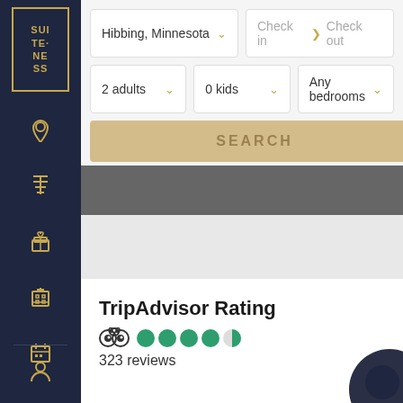[Figure (logo): Suiteness logo with gold border and text SUI TEN ESS on dark navy sidebar]
[Figure (illustration): Navigation sidebar icons: location pin, airport/transit, gift, building/hotel, calendar, user profile - all in gold on dark navy background]
Hibbing, Minnesota
Check in > Check out
2 adults
0 kids
Any bedrooms
SEARCH
TripAdvisor Rating
323 reviews